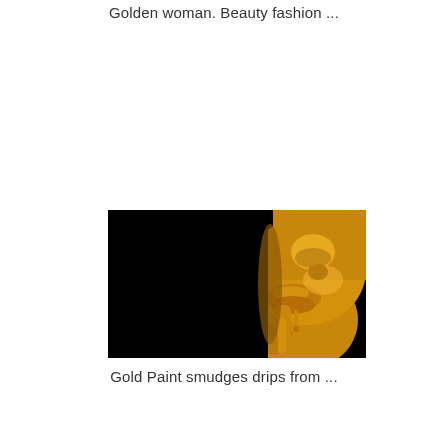Golden woman. Beauty fashion ...
[Figure (photo): Close-up photo of a woman's face covered in gold paint against a black background, with gold paint dripping from her lips and finger touching her chin.]
Gold Paint smudges drips from ...